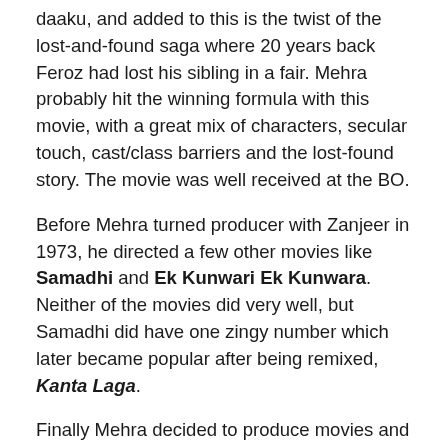daaku, and added to this is the twist of the lost-and-found saga where 20 years back Feroz had lost his sibling in a fair. Mehra probably hit the winning formula with this movie, with a great mix of characters, secular touch, cast/class barriers and the lost-found story. The movie was well received at the BO.
Before Mehra turned producer with Zanjeer in 1973, he directed a few other movies like Samadhi and Ek Kunwari Ek Kunwara. Neither of the movies did very well, but Samadhi did have one zingy number which later became popular after being remixed, Kanta Laga.
Finally Mehra decided to produce movies and Zanjeer was his first venture. This movie catapulted Amitabh Bachchan to stardom and gave us the man who would go onto become the superstar of the millenium. There is so much